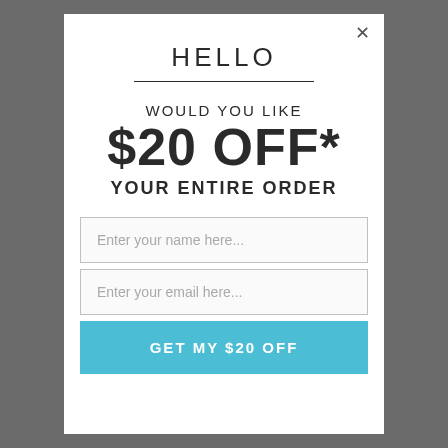HELLO
WOULD YOU LIKE
$20 OFF*
YOUR ENTIRE ORDER
Enter your name here...
Enter your email here...
GET MY $20 OFF